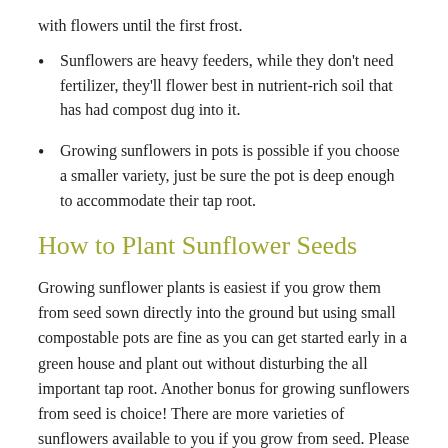with flowers until the first frost.
Sunflowers are heavy feeders, while they don't need fertilizer, they'll flower best in nutrient-rich soil that has had compost dug into it.
Growing sunflowers in pots is possible if you choose a smaller variety, just be sure the pot is deep enough to accommodate their tap root.
How to Plant Sunflower Seeds
Growing sunflower plants is easiest if you grow them from seed sown directly into the ground but using small compostable pots are fine as you can get started early in a green house and plant out without disturbing the all important tap root. Another bonus for growing sunflowers from seed is choice! There are more varieties of sunflowers available to you if you grow from seed. Please check out our recommendations below.
If planting directly outdoors, just make sure you plant seeds after